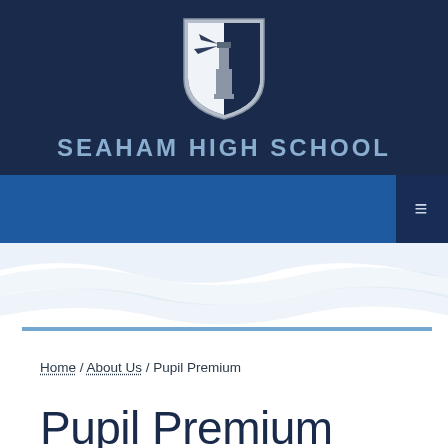[Figure (logo): Seaham High School shield logo with lighthouse motif in dark navy and silver]
SEAHAM HIGH SCHOOL
Home / About Us / Pupil Premium
Pupil Premium